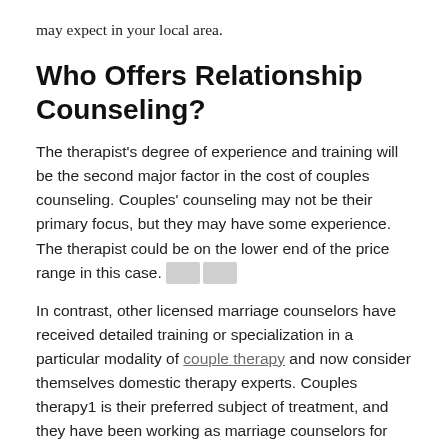may expect in your local area.
Who Offers Relationship Counseling?
The therapist’s degree of experience and training will be the second major factor in the cost of couples counseling. Couples’ counseling may not be their primary focus, but they may have some experience. The therapist could be on the lower end of the price range in this case.
In contrast, other licensed marriage counselors have received detailed training or specialization in a particular modality of couple therapy and now consider themselves domestic therapy experts. Couples therapy1 is their preferred subject of treatment, and they have been working as marriage counselors for quite some time.
The therapist’s level of expertise will also affect the cost. The